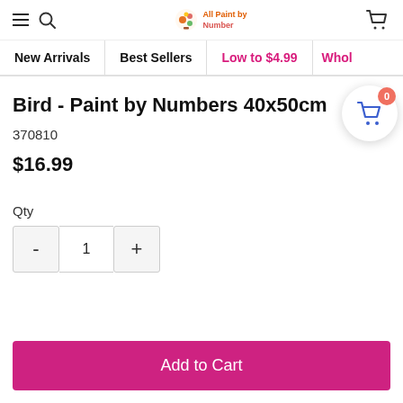All Paint by Numbers - navigation header with hamburger menu, search, logo, and cart icon
New Arrivals | Best Sellers | Low to $4.99 | Whol...
Bird - Paint by Numbers 40x50cm
370810
$16.99
Qty
1
Add to Cart